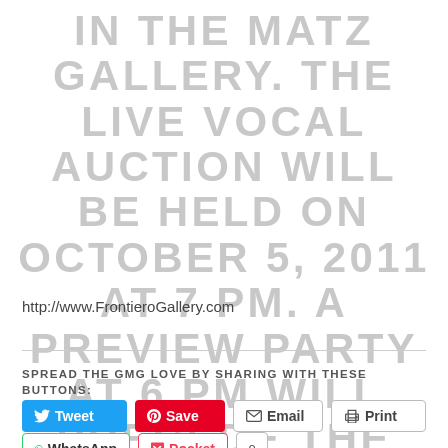IN THE MATZ GALLERY. THE LIVE VOCAL AUCTION WILL BE HELD ON OCTOBER 5, 2011 AT 7 PM. A PREVIEW PARTY AT 6 PM WILL PRECEDE THE AUCTION.
http://www.FrontieroGallery.com
SPREAD THE GMG LOVE BY SHARING WITH THESE BUTTONS: